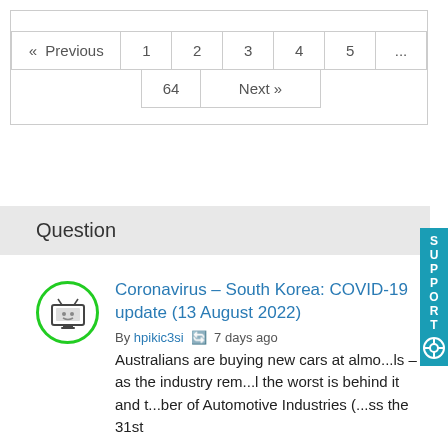[Figure (other): Pagination navigation with Previous, page numbers 1-5, ellipsis, 64, and Next buttons]
Question
[Figure (other): User avatar icon: TV screen icon inside a green-bordered circle]
Coronavirus – South Korea: COVID-19 update (13 August 2022)
By hpikic3si  7 days ago
Australians are buying new cars at almo...ls – as the industry rem...l the worst is behind it and t...ber of Automotive Industries (...ss the 31st